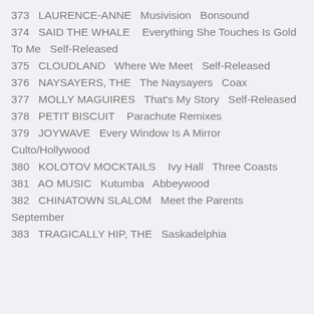373   LAURENCE-ANNE   Musivision   Bonsound
374   SAID THE WHALE   Everything She Touches Is Gold To Me   Self-Released
375   CLOUDLAND   Where We Meet   Self-Released
376   NAYSAYERS, THE   The Naysayers   Coax
377   MOLLY MAGUIRES   That's My Story   Self-Released
378   PETIT BISCUIT   Parachute Remixes
379   JOYWAVE   Every Window Is A Mirror   Culto/Hollywood
380   KOLOTOV MOCKTAILS   Ivy Hall   Three Coasts
381   AO MUSIC   Kutumba   Abbeywood
382   CHINATOWN SLALOM   Meet the Parents   September
383   TRAGICALLY HIP, THE   Saskadelphia